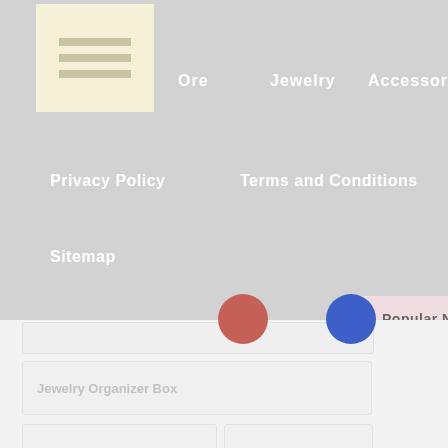[Figure (screenshot): Website navigation with logo, menu links: Ore, Jewelry, Accessories, Privacy Policy, Terms and Conditions, Sitemap. Below is an overlay bar with red and blue circles, a pink 'Popular News' bar, and a cream search box. The bottom half shows a light grey search results area with cards: Jewelry Organizer Box, Jewelry Or Handbag, Jewelry Outlet, Jewelry Unlimited Reviews.]
Ore
Jewelry
Accessories
Privacy Policy
Terms and Conditions
Sitemap
Popular News
Jewelry Organizer Box
Jewelry Or Handbag
Jewelry Outlet
Jewelry Unlimited Reviews